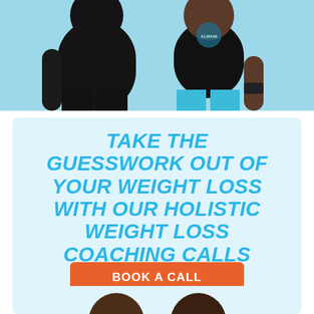[Figure (photo): Two people standing side by side wearing black fitness attire; one in all black outfit, one in black top with light blue leggings, against a light blue background.]
TAKE THE GUESSWORK OUT OF YOUR WEIGHT LOSS WITH OUR HOLISTIC WEIGHT LOSS COACHING CALLS
BOOK A CALL
[Figure (photo): Tops of two people's heads peeking up from the bottom of the advertisement box.]